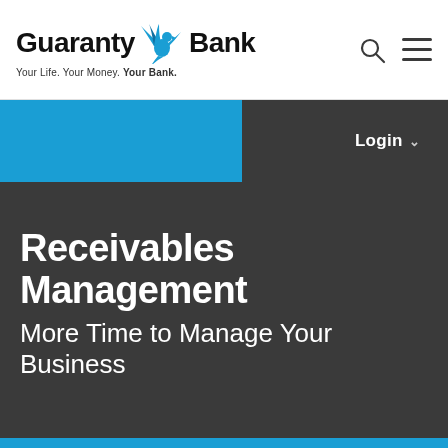[Figure (logo): Guaranty Bank logo with eagle graphic and tagline 'Your Life. Your Money. Your Bank.']
[Figure (screenshot): Navigation bar with blue left section and dark right section containing Login button and dropdown caret]
Receivables Management
More Time to Manage Your Business